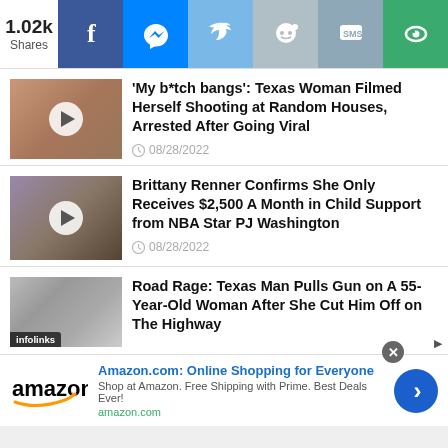1.02k Shares
'My b*tch bangs': Texas Woman Filmed Herself Shooting at Random Houses, Arrested After Going Viral
08/28/2022
Brittany Renner Confirms She Only Receives $2,500 A Month in Child Support from NBA Star PJ Washington
08/28/2022
Road Rage: Texas Man Pulls Gun on A 55-Year-Old Woman After She Cut Him Off on The Highway
[Figure (screenshot): Amazon advertisement banner with logo, Amazon.com: Online Shopping for Everyone text, and blue arrow button]